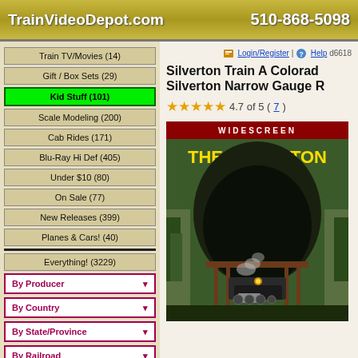TrainVideoDepot.com   510-868-5098
Train TV/Movies (14)
Gift / Box Sets (29)
Kid Stuff (101)
Scale Modeling (200)
Cab Rides (171)
Blu-Ray Hi Def (405)
Under $10 (80)
On Sale (77)
New Releases (399)
Planes & Cars! (40)
Everything! (3229)
By Producer ▾
By Country ▾
By State/Province ▾
By Railroad ▾
Title and Description Search
Login/Register | Help d6618
Silverton Train A Colorado Silverton Narrow Gauge R
4.7 of 5 (7)
[Figure (photo): DVD cover of The Silverton Train - A Colorado Rail Adventure, showing a widescreen label at top, yellow title text, red subtitle, and a steam locomotive (number 478) emerging from a tunnel through rocky terrain with trees]